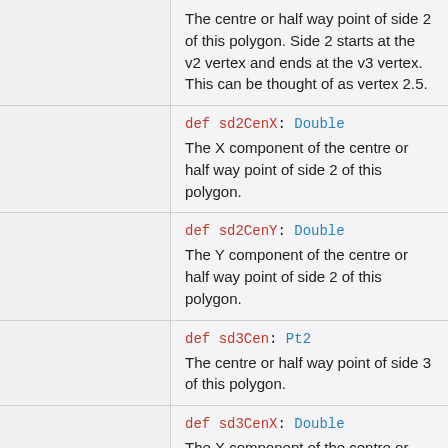The centre or half way point of side 2 of this polygon. Side 2 starts at the v2 vertex and ends at the v3 vertex. This can be thought of as vertex 2.5.
def sd2CenX: Double
The X component of the centre or half way point of side 2 of this polygon.
def sd2CenY: Double
The Y component of the centre or half way point of side 2 of this polygon.
def sd3Cen: Pt2
The centre or half way point of side 3 of this polygon.
def sd3CenX: Double
The X component of the centre or half way point of side 3 of this polygon.